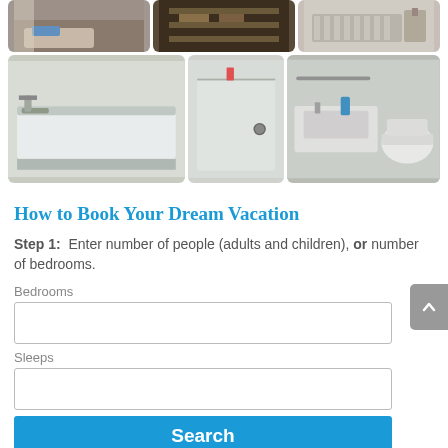[Figure (photo): Grid of bathroom/bedroom photos — top row: bedroom, hallway/shelf, bathroom radiator; bottom row: bathtub, shower, sink and toilet]
How to Book Your Dream Vacation
Step 1:  Enter number of people (adults and children), or number of bedrooms.
Bedrooms
Sleeps
Search